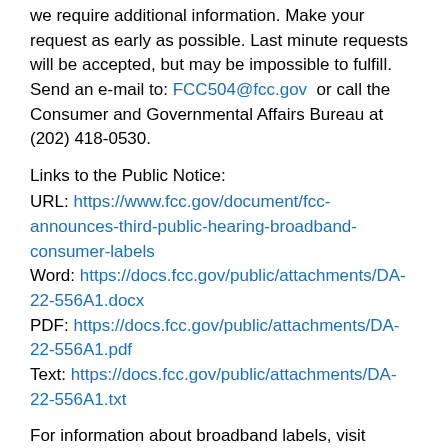we require additional information. Make your request as early as possible. Last minute requests will be accepted, but may be impossible to fulfill. Send an e-mail to: FCC504@fcc.gov or call the Consumer and Governmental Affairs Bureau at (202) 418-0530.
Links to the Public Notice:
URL: https://www.fcc.gov/document/fcc-announces-third-public-hearing-broadband-consumer-labels
Word: https://docs.fcc.gov/public/attachments/DA-22-556A1.docx
PDF: https://docs.fcc.gov/public/attachments/DA-22-556A1.pdf
Text: https://docs.fcc.gov/public/attachments/DA-22-556A1.txt
For information about broadband labels, visit www.fcc.gov/broadbandlabels. For additional information about the webinar's logistical details, please contact Deandrea Wilson, Consumer Education and Outreach Specialist, at Deandrea.Wilson@fcc.gov. For additional information about the broadband consumer labels rulemaking, contact Erica H. McMahon, Consumer Policy Division, Consumer and